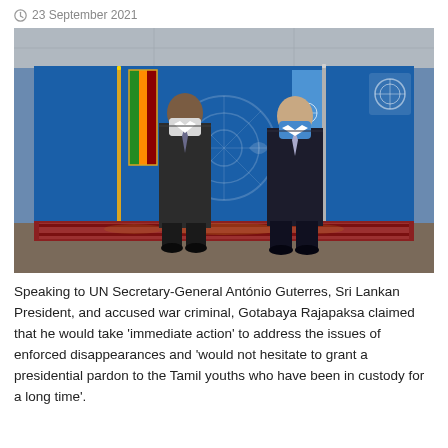23 September 2021
[Figure (photo): Two men in dark suits wearing face masks standing in front of a blue UN backdrop and flags. The Sri Lankan flag is on the left and the UN flag on the right. They are standing on a decorative rug.]
Speaking to UN Secretary-General António Guterres, Sri Lankan President, and accused war criminal, Gotabaya Rajapaksa claimed that he would take 'immediate action' to address the issues of enforced disappearances and 'would not hesitate to grant a presidential pardon to the Tamil youths who have been in custody for a long time'.